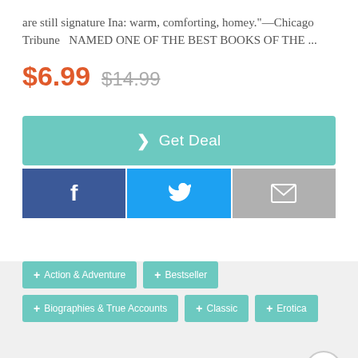are still signature Ina: warm, comforting, homey."—Chicago Tribune   NAMED ONE OF THE BEST BOOKS OF THE ...
$6.99  $14.99
[Figure (screenshot): Get Deal button (teal/green), and three social share buttons: Facebook (dark blue), Twitter (blue), Email (gray)]
+ Action & Adventure
+ Bestseller
+ Biographies & True Accounts
+ Classic
+ Erotica